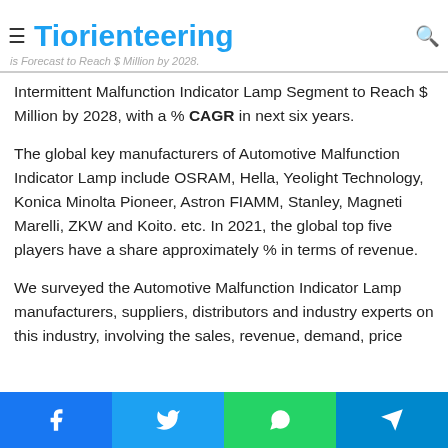Tiorienteering
Intermittent Malfunction Indicator Lamp Segment to Reach $ Million by 2028, with a % CAGR in next six years.
The global key manufacturers of Automotive Malfunction Indicator Lamp include OSRAM, Hella, Yeolight Technology, Konica Minolta Pioneer, Astron FIAMM, Stanley, Magneti Marelli, ZKW and Koito. etc. In 2021, the global top five players have a share approximately % in terms of revenue.
We surveyed the Automotive Malfunction Indicator Lamp manufacturers, suppliers, distributors and industry experts on this industry, involving the sales, revenue, demand, price